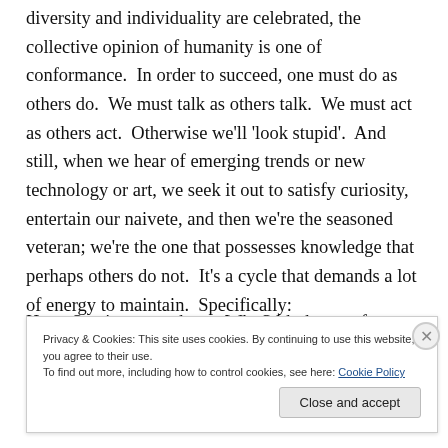diversity and individuality are celebrated, the collective opinion of humanity is one of conformance.  In order to succeed, one must do as others do.  We must talk as others talk.  We must act as others act.  Otherwise we'll 'look stupid'.  And still, when we hear of emerging trends or new technology or art, we seek it out to satisfy curiosity, entertain our naivete, and then we're the seasoned veteran; we're the one that possesses knowledge that perhaps others do not.  It's a cycle that demands a lot of energy to maintain.  Specifically:
H...   Sta ti...   wh...   Wh  S lth th...   of
Privacy & Cookies: This site uses cookies. By continuing to use this website, you agree to their use.
To find out more, including how to control cookies, see here: Cookie Policy
Close and accept